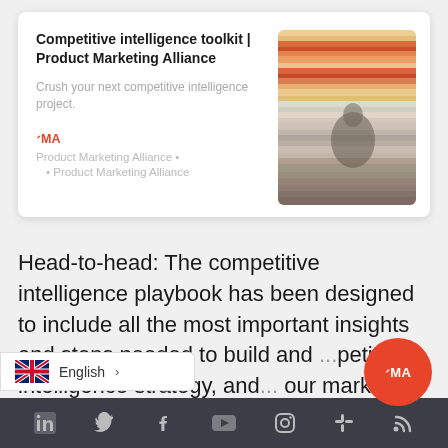Competitive intelligence toolkit | Product Marketing Alliance
Crush your next competitive intelligence project.
PMA
Product Marketing Alliance • 
• Product Marketing Alliance
[Figure (photo): Motion-blurred photo of a motorcyclist with warm orange/red streaked background suggesting high speed]
Head-to-head: The competitive intelligence playbook has been designed to include all the most important insights and steps needed to build and ...petitive intelligence strategy, and ... our market...
[Figure (logo): UK flag with English language selector showing '> English']
[Figure (logo): PMA circular orange logo]
LinkedIn · Twitter · Facebook · YouTube · Instagram · Slack · RSS